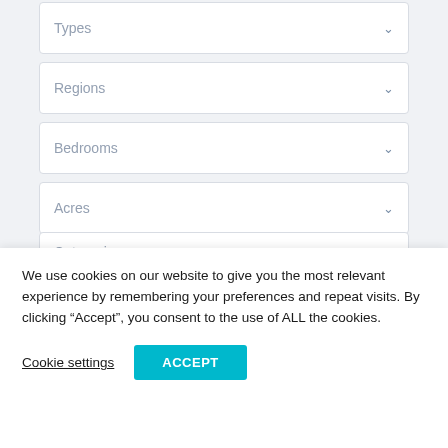Types
Regions
Bedrooms
Acres
Categories
We use cookies on our website to give you the most relevant experience by remembering your preferences and repeat visits. By clicking “Accept”, you consent to the use of ALL the cookies.
Cookie settings
ACCEPT